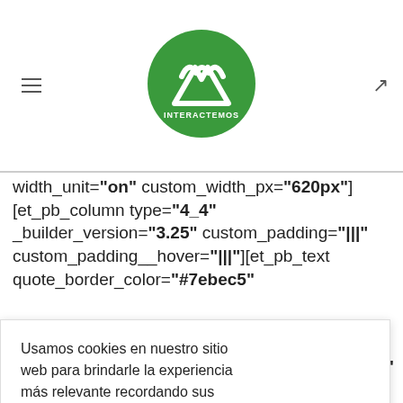[Figure (logo): Green circular logo with white mountain/figure icon and text INTERACTEMOS]
width_unit="on" custom_width_px="620px"] [et_pb_column type="4_4" _builder_version="3.25" custom_padding="|||" custom_padding__hover="|||"][et_pb_text quote_border_color="#7ebec5"
on="4.0.9"
nt_size="20"
nt="PT
al"
Usamos cookies en nuestro sitio web para brindarle la experiencia más relevante recordando sus preferencias y visitas repetidas. Al hacer clic en "Aceptar todo", acepta el uso de TODAS las cookies.
Aceptar todo
max_width="620px"